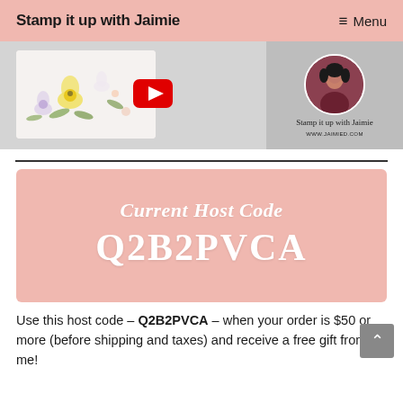Stamp it up with Jaimie   ≡ Menu
[Figure (screenshot): YouTube channel banner showing a floral card on the left with a YouTube play button overlay, and a circular profile photo of a woman in a dark red top on the right, with text 'Stamp it up with Jaimie' and 'WWW.JAIMIED.COM']
[Figure (infographic): Pink banner with white script text 'Current Host Code' and large bold text 'Q2B2PVCA']
Use this host code – Q2B2PVCA – when your order is $50 or more (before shipping and taxes) and receive a free gift from me!